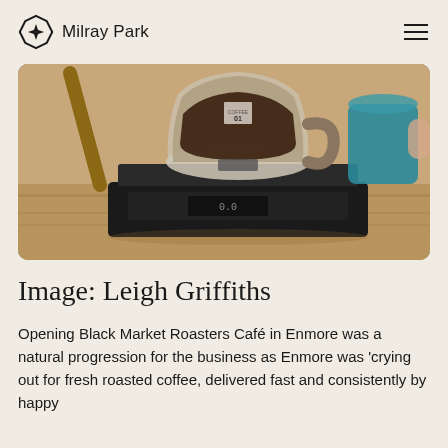Milray Park
[Figure (photo): A glass pour-over coffee carafe sitting on a black digital scale on a wooden table, with a teal ceramic mug visible in the background]
Image: Leigh Griffiths
Opening Black Market Roasters Café in Enmore was a natural progression for the business as Enmore was ‘crying out for fresh roasted coffee, delivered fast and consistently by happy